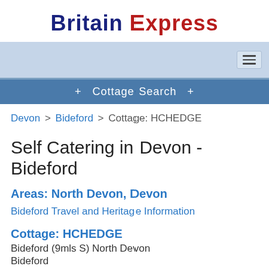Britain Express
[Figure (screenshot): Navigation bar with hamburger menu icon on light blue background]
+ Cottage Search +
Devon > Bideford > Cottage: HCHEDGE
Self Catering in Devon - Bideford
Areas: North Devon, Devon
Bideford Travel and Heritage Information
Cottage: HCHEDGE
Bideford (9mls S) North Devon
Bideford